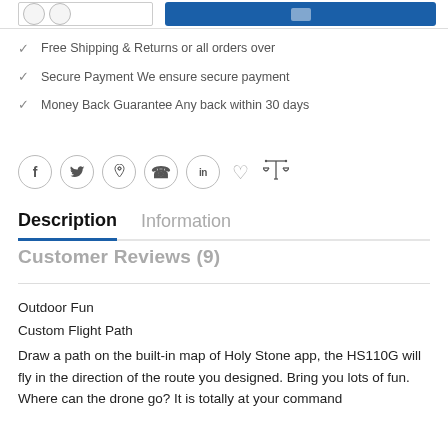Free Shipping & Returns or all orders over
Secure Payment We ensure secure payment
Money Back Guarantee Any back within 30 days
Description
Information
Customer Reviews (9)
Outdoor Fun
Custom Flight Path
Draw a path on the built-in map of Holy Stone app, the HS110G will fly in the direction of the route you designed. Bring you lots of fun. Where can the drone go? It is totally at your command